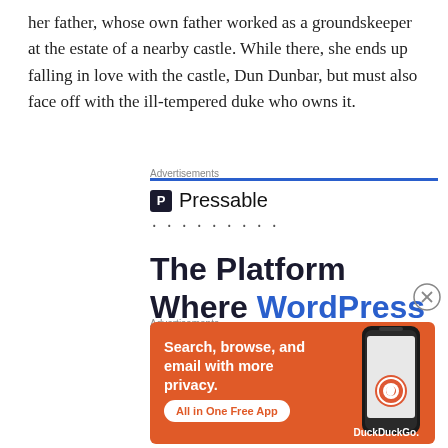her father, whose own father worked as a groundskeeper at the estate of a nearby castle. While there, she ends up falling in love with the castle, Dun Dunbar, but must also face off with the ill-tempered duke who owns it.
Advertisements
[Figure (infographic): Pressable advertisement showing logo with 'P' icon, name 'Pressable', dotted line, and headline 'The Platform Where WordPress Works Best' with 'WordPress' and 'Best' in blue.]
Advertisements
[Figure (infographic): DuckDuckGo advertisement on orange background showing text 'Search, browse, and email with more privacy.' with button 'All in One Free App' and DuckDuckGo logo with phone image.]